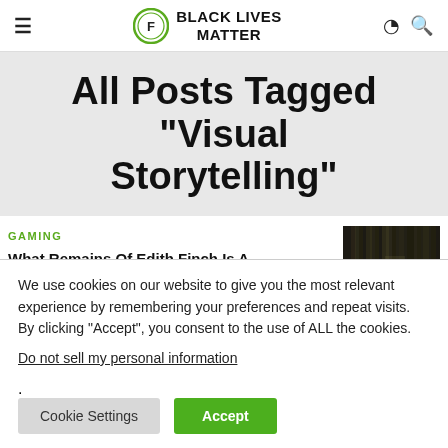BLACK LIVES MATTER
All Posts Tagged "Visual Storytelling"
GAMING
What Remains Of Edith Finch Is A Storytelling Masterstroke
[Figure (photo): Dark forest photograph used as article thumbnail]
We use cookies on our website to give you the most relevant experience by remembering your preferences and repeat visits. By clicking “Accept”, you consent to the use of ALL the cookies.
Do not sell my personal information.